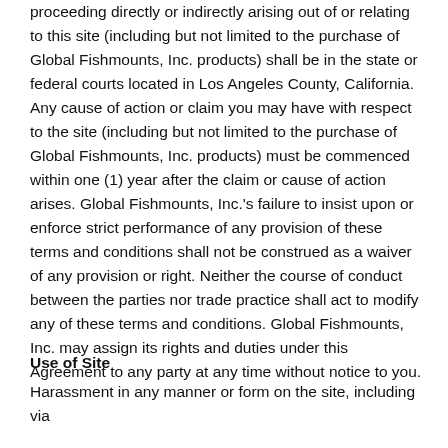proceeding directly or indirectly arising out of or relating to this site (including but not limited to the purchase of Global Fishmounts, Inc. products) shall be in the state or federal courts located in Los Angeles County, California. Any cause of action or claim you may have with respect to the site (including but not limited to the purchase of Global Fishmounts, Inc. products) must be commenced within one (1) year after the claim or cause of action arises. Global Fishmounts, Inc.'s failure to insist upon or enforce strict performance of any provision of these terms and conditions shall not be construed as a waiver of any provision or right. Neither the course of conduct between the parties nor trade practice shall act to modify any of these terms and conditions. Global Fishmounts, Inc. may assign its rights and duties under this Agreement to any party at any time without notice to you.
Use of Site
Harassment in any manner or form on the site, including via